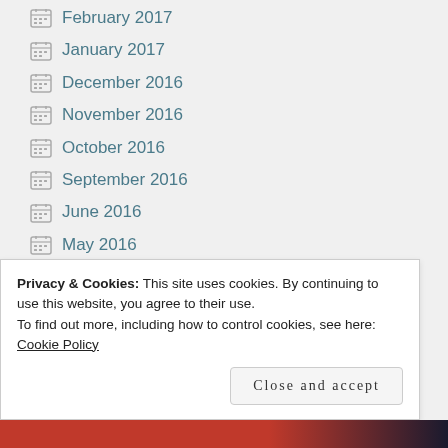February 2017
January 2017
December 2016
November 2016
October 2016
September 2016
June 2016
May 2016
April 2016
March 2016
Privacy & Cookies: This site uses cookies. By continuing to use this website, you agree to their use.
To find out more, including how to control cookies, see here: Cookie Policy
Close and accept